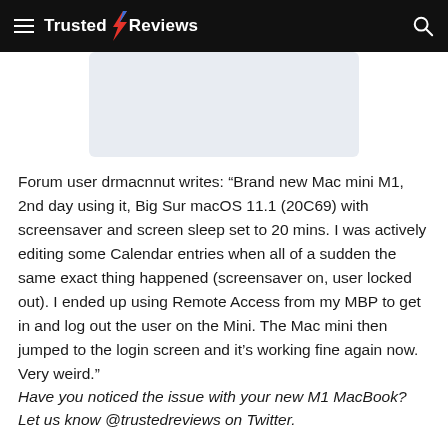Trusted Reviews
[Figure (screenshot): Light blue-grey rectangular placeholder image area]
Forum user drmacnnut writes: “Brand new Mac mini M1, 2nd day using it, Big Sur macOS 11.1 (20C69) with screensaver and screen sleep set to 20 mins. I was actively editing some Calendar entries when all of a sudden the same exact thing happened (screensaver on, user locked out). I ended up using Remote Access from my MBP to get in and log out the user on the Mini. The Mac mini then jumped to the login screen and it’s working fine again now. Very weird.”
Have you noticed the issue with your new M1 MacBook? Let us know @trustedreviews on Twitter.